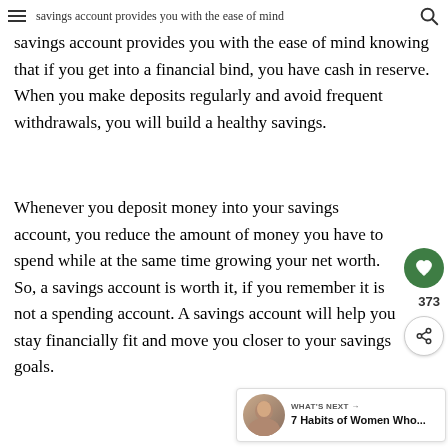savings account provides you with the ease of mind
savings account provides you with the ease of mind knowing that if you get into a financial bind, you have cash in reserve. When you make deposits regularly and avoid frequent withdrawals, you will build a healthy savings.
Whenever you deposit money into your savings account, you reduce the amount of money you have to spend while at the same time growing your net worth. So, a savings account is worth it, if you remember it is not a spending account. A savings account will help you stay financially fit and move you closer to your savings goals.